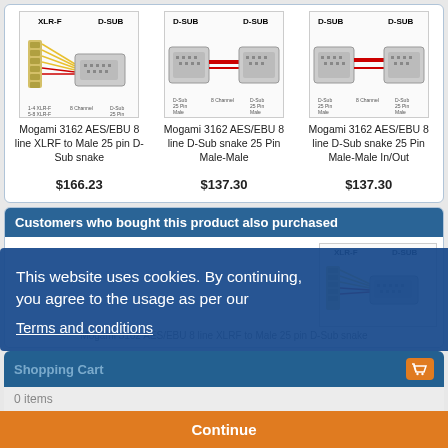[Figure (photo): Product image: Mogami 3162 AES/EBU 8 line XLRF to Male 25 pin D-Sub snake cable, XLR-F and D-SUB connectors shown]
Mogami 3162 AES/EBU 8 line XLRF to Male 25 pin D-Sub snake
$166.23
[Figure (photo): Product image: Mogami 3162 AES/EBU 8 line D-Sub snake 25 Pin Male-Male, D-SUB connectors on both ends]
Mogami 3162 AES/EBU 8 line D-Sub snake 25 Pin Male-Male
$137.30
[Figure (photo): Product image: Mogami 3162 AES/EBU 8 line D-Sub snake 25 Pin Male-Male In/Out, D-SUB connectors on both ends]
Mogami 3162 AES/EBU 8 line D-Sub snake 25 Pin Male-Male In/Out
$137.30
Customers who bought this product also purchased
[Figure (photo): Product image: Mogami 3162 AES/EBU 8 line XLRF to Male 25 pin D-Sub snake, XLR-F and D-SUB connectors shown]
Mogami 3162 AES/EBU 8 line XLRF to Male 25 pin D-Sub snake
This website uses cookies. By continuing, you agree to the usage as per our
Terms and conditions
Shopping Cart
0 items
Continue